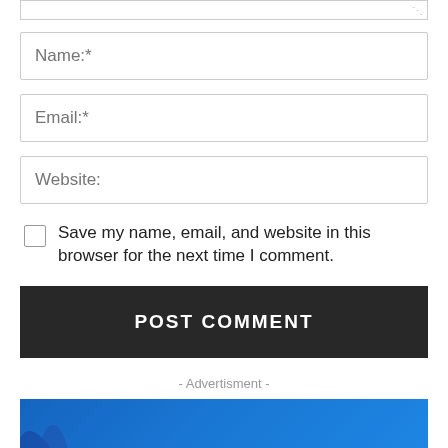[Figure (screenshot): Text area resize handle at top of page, partial textarea with resize icon at bottom right]
Name:*
Email:*
Website:
Save my name, email, and website in this browser for the next time I comment.
POST COMMENT
- Advertisment -
[Figure (illustration): Blue advertisement banner with tropical leaf illustration on left and text 'Best Selling BLOG and MAGAZINE']